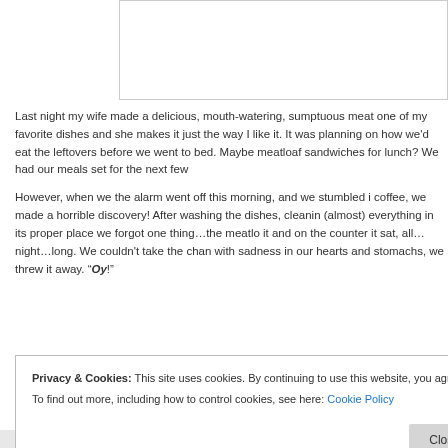[Figure (other): White rectangular image placeholder with border at top of page]
Last night my wife made a delicious, mouth-watering, sumptuous meat one of my favorite dishes and she makes it just the way I like it. It was planning on how we'd eat the leftovers before we went to bed. Maybe meatloaf sandwiches for lunch? We had our meals set for the next few

However, when we the alarm went off this morning, and we stumbled i coffee, we made a horrible discovery! After washing the dishes, cleanin (almost) everything in its proper place we forgot one thing…the meatlo it and on the counter it sat, all…night…long. We couldn't take the chan with sadness in our hearts and stomachs, we threw it away. “Oy!”
Privacy & Cookies: This site uses cookies. By continuing to use this website, you agree to their use. To find out more, including how to control cookies, see here: Cookie Policy